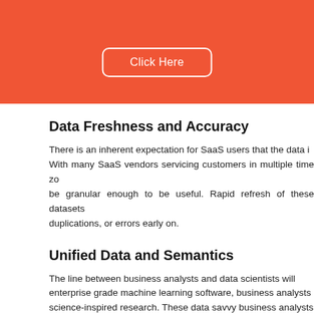[Figure (other): Orange header banner with a 'Click Here' button with white border and white text]
Data Freshness and Accuracy
There is an inherent expectation for SaaS users that the data i... With many SaaS vendors servicing customers in multiple time zo... be granular enough to be useful. Rapid refresh of these datasets... duplications, or errors early on.
Unified Data and Semantics
The line between business analysts and data scientists will... enterprise grade machine learning software, business analysts... science-inspired research. These data savvy business analysts... requires a consolidated view of data across the organization.
These business analysts need to analyze at the 'speed of thoug... breaking for coffee every time they submit a query. For to... applications, the speed of thought is not fast enough. With the... and libraries, we need a data service layer that can deliver insigh...